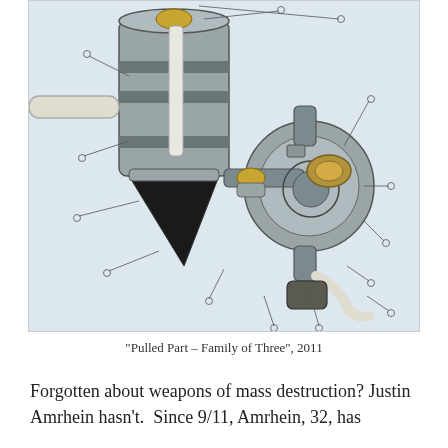[Figure (illustration): An illustrated engineering-style diagram of mechanical/industrial components resembling weapons parts or assembly — cylindrical metal parts, tubes, connectors, and a dark conical tip, drawn in a flat illustration style with annotation lines and small circular endpoints, on a light blue-grey background.]
"Pulled Part – Family of Three", 2011
Forgotten about weapons of mass destruction? Justin Amrhein hasn't.  Since 9/11, Amrhein, 32, has